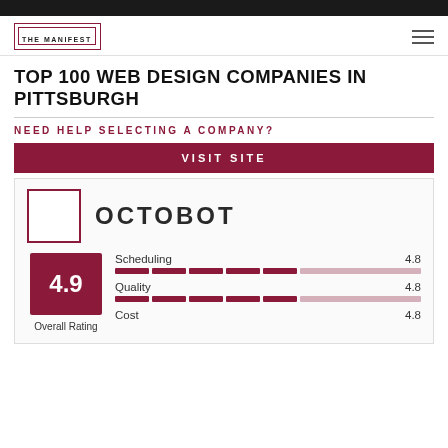THE MANIFEST
TOP 100 WEB DESIGN COMPANIES IN PITTSBURGH
NEED HELP SELECTING A COMPANY?
VISIT SITE
OCTOBOT
[Figure (infographic): Rating card for Octobot showing overall rating 4.9 and metrics: Scheduling 4.8, Quality 4.8, Cost 4.8]
Overall Rating